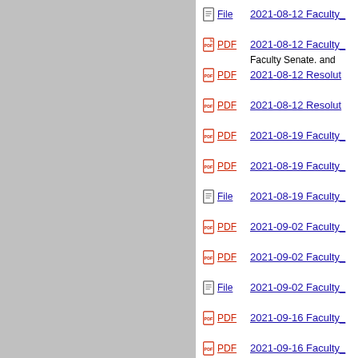File  2021-08-12 Faculty_
PDF  2021-08-12 Faculty_
Faculty Senate. and
PDF  2021-08-12 Resolut
PDF  2021-08-12 Resolut
PDF  2021-08-19 Faculty_
PDF  2021-08-19 Faculty_
File  2021-08-19 Faculty_
PDF  2021-09-02 Faculty_
PDF  2021-09-02 Faculty_
File  2021-09-02 Faculty_
PDF  2021-09-16 Faculty_
PDF  2021-09-16 Faculty_